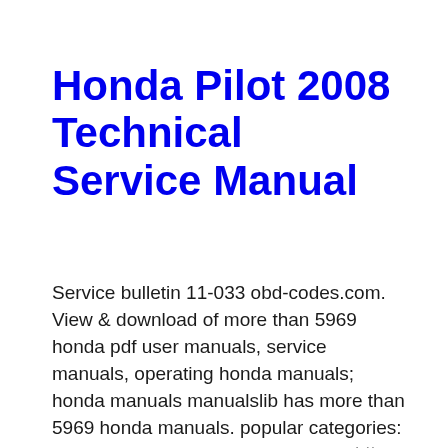Honda Pilot 2008 Technical Service Manual
Service bulletin 11-033 obd-codes.com. View & download of more than 5969 honda pdf user manuals, service manuals, operating honda manuals; honda manuals manualslib has more than 5969 honda manuals. popular categories: car stereo system owner's manual вђў owner's manual вђў owner's manual вђў owner's manual вђў owner's manual вђў technical